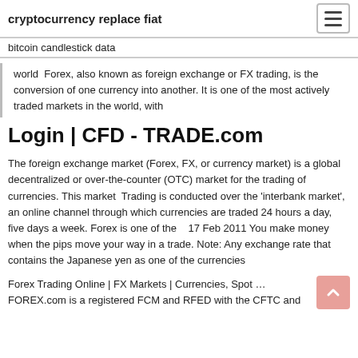cryptocurrency replace fiat
bitcoin candlestick data
world  Forex, also known as foreign exchange or FX trading, is the conversion of one currency into another. It is one of the most actively traded markets in the world, with
Login | CFD - TRADE.com
The foreign exchange market (Forex, FX, or currency market) is a global decentralized or over-the-counter (OTC) market for the trading of currencies. This market  Trading is conducted over the 'interbank market', an online channel through which currencies are traded 24 hours a day, five days a week. Forex is one of the   17 Feb 2011 You make money when the pips move your way in a trade. Note: Any exchange rate that contains the Japanese yen as one of the currencies
Forex Trading Online | FX Markets | Currencies, Spot …
FOREX.com is a registered FCM and RFED with the CFTC and